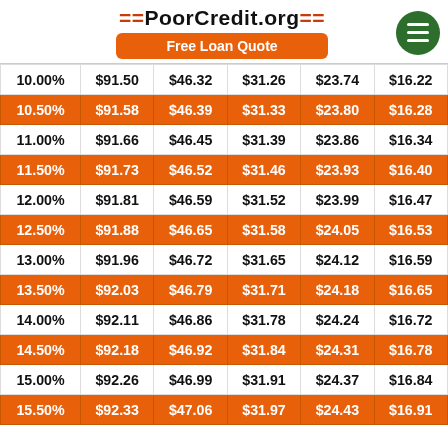=PoorCredit.org=  Free Loan Quote
| 10.00% | $91.50 | $46.32 | $31.26 | $23.74 | $16.22 |
| 10.50% | $91.58 | $46.39 | $31.33 | $23.80 | $16.28 |
| 11.00% | $91.66 | $46.45 | $31.39 | $23.86 | $16.34 |
| 11.50% | $91.73 | $46.52 | $31.46 | $23.93 | $16.40 |
| 12.00% | $91.81 | $46.59 | $31.52 | $23.99 | $16.47 |
| 12.50% | $91.88 | $46.65 | $31.58 | $24.05 | $16.53 |
| 13.00% | $91.96 | $46.72 | $31.65 | $24.12 | $16.59 |
| 13.50% | $92.03 | $46.79 | $31.71 | $24.18 | $16.65 |
| 14.00% | $92.11 | $46.86 | $31.78 | $24.24 | $16.72 |
| 14.50% | $92.18 | $46.92 | $31.84 | $24.31 | $16.78 |
| 15.00% | $92.26 | $46.99 | $31.91 | $24.37 | $16.84 |
| 15.50% | $92.33 | $47.06 | $31.97 | $24.43 | $16.91 |